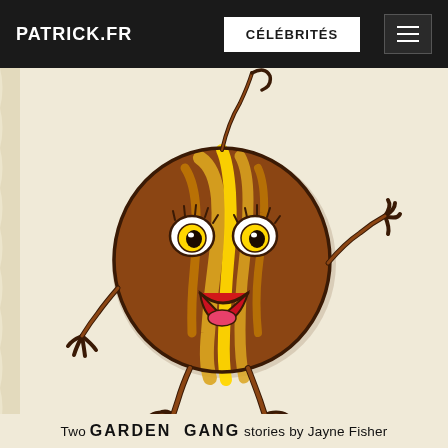PATRICK.FR | CÉLÉBRITÉS
[Figure (illustration): Cartoon illustration of an anthropomorphized onion character with a round brown and yellow striped body, expressive eyes with eyelashes, an open mouth showing pink tongue, and thin brown arms and legs in a dancing pose. From a children's book cover.]
Two GARDEN GANG stories by Jayne Fisher